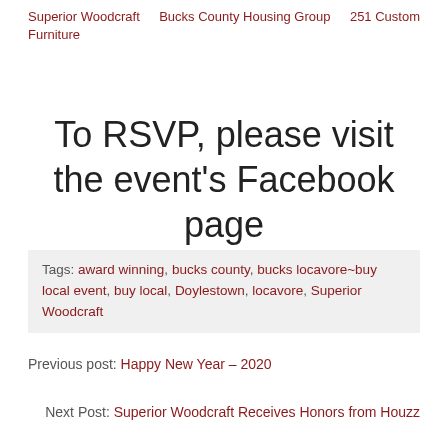Superior Woodcraft    Furniture          Bucks County Housing Group          251 Custom
To RSVP, please visit the event's Facebook page
Tags: award winning, bucks county, bucks locavore~buy local event, buy local, Doylestown, locavore, Superior Woodcraft
Previous post: Happy New Year – 2020
Next Post: Superior Woodcraft Receives Honors from Houzz